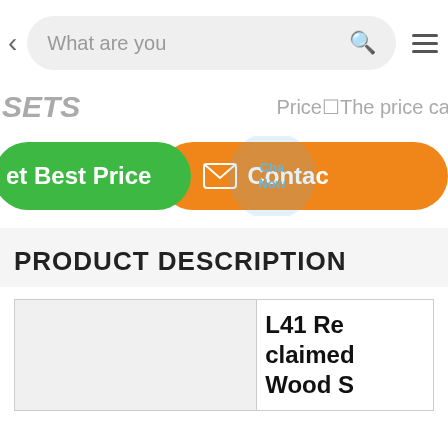< What are you looking for? [search icon] [menu icon]
SETS   Price The price ca
Get Best Price   [envelope] Contact
PRODUCT DESCRIPTION
| [image cell] | L41 Reclaimed Wood S |